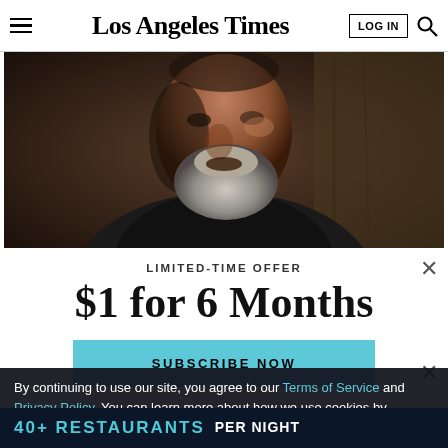Los Angeles Times
[Figure (photo): Close-up of an older man with a white beard and dark clothing against a dark background]
LIMITED-TIME OFFER
$1 for 6 Months
SUBSCRIBE NOW
By continuing to use our site, you agree to our Terms of Service and Privacy Policy. You can learn more about how we use cookies by reviewing our Privacy Policy. Close